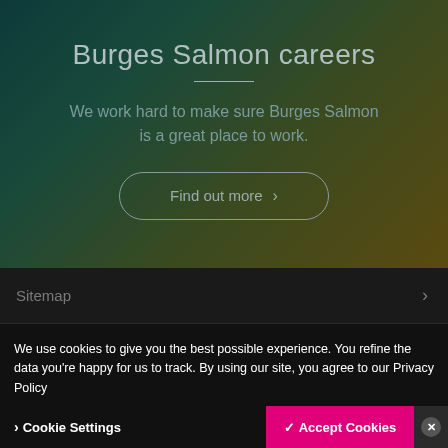Burges Salmon careers
We work hard to make sure Burges Salmon is a great place to work.
Find out more
Sitemap
We use cookies to give you the best possible experience. You refine the data you're happy for us to track. By using our site, you agree to our Privacy Policy
Cookie Settings
✓ Accept Cookies